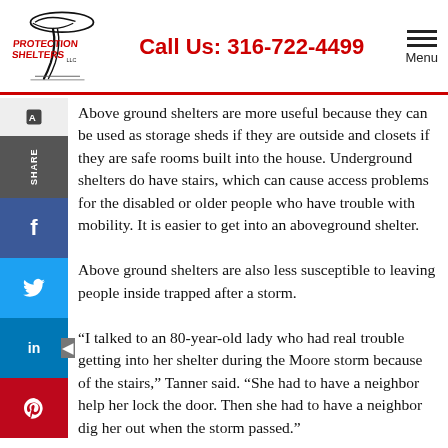Protection Shelters LLC | Call Us: 316-722-4499 | Menu
Above ground shelters are more useful because they can be used as storage sheds if they are outside and closets if they are safe rooms built into the house. Underground shelters do have stairs, which can cause access problems for the disabled or older people who have trouble with mobility. It is easier to get into an aboveground shelter.
Above ground shelters are also less susceptible to leaving people inside trapped after a storm.
"I talked to an 80-year-old lady who had real trouble getting into her shelter during the Moore storm because of the stairs," Tanner said. "She had to have a neighbor help her lock the door. Then she had to have a neighbor dig her out when the storm passed."